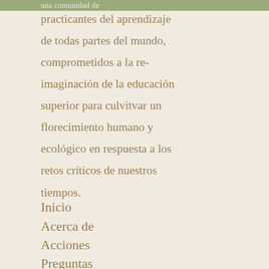una comunidad de
practicantes del aprendizaje de todas partes del mundo, comprometidos a la re-imaginación de la educación superior para culvitvar un florecimiento humano y ecológico en respuesta a los retos críticos de nuestros tiempos.
Inicio
Acerca de
Acciones
Preguntas frecuentes